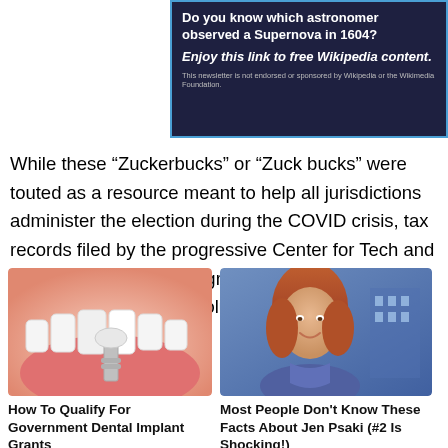[Figure (other): Dark blue advertisement banner with question about astronomer who observed a Supernova in 1604, promoting Wikipedia content link]
While these “Zuckerbucks” or “Zuck bucks” were touted as a resource meant to help all jurisdictions administer the election during the COVID crisis, tax records filed by the progressive Center for Tech and Civic Life show that the group “awarded all larger grants – on both an absolute and per [Promoted ×] to
[Figure (illustration): Dental implant illustration showing teeth and implant]
How To Qualify For Government Dental Implant Grants
🔥 7,804
[Figure (photo): Photo of Jen Psaki smiling in front of a government building]
Most People Don't Know These Facts About Jen Psaki (#2 Is Shocking!)
🔥 29,263